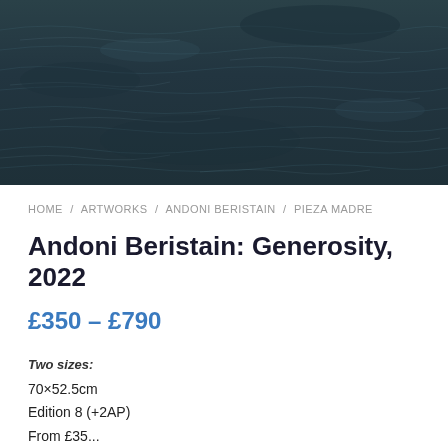[Figure (photo): Dark teal/slate ocean water surface texture, aerial or close-up view showing gentle waves and ripples with dark atmospheric tones]
HOME / ARTWORKS / ANDONI BERISTAIN / PIEZA MADRE
Andoni Beristain: Generosity, 2022
£350 – £790
Two sizes:
70×52.5cm
Edition 8 (+2AP)
From £35...